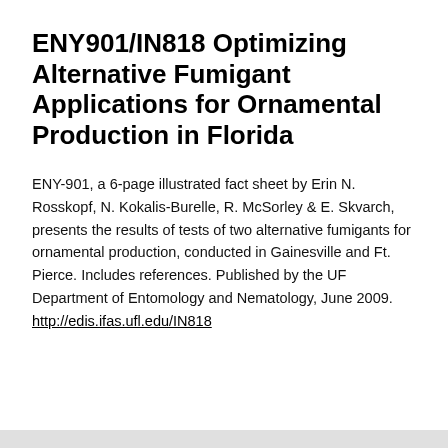ENY901/IN818 Optimizing Alternative Fumigant Applications for Ornamental Production in Florida
ENY-901, a 6-page illustrated fact sheet by Erin N. Rosskopf, N. Kokalis-Burelle, R. McSorley & E. Skvarch, presents the results of tests of two alternative fumigants for ornamental production, conducted in Gainesville and Ft. Pierce. Includes references. Published by the UF Department of Entomology and Nematology, June 2009. http://edis.ifas.ufl.edu/IN818